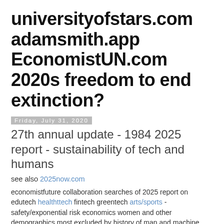universityofstars.com adamsmith.app EconomistUN.com 2020s freedom to end extinction?
Friday, July 31, 2020
27th annual update - 1984 2025 report - sustainability of tech and humans
see also 2025now.com
economistfuture collaboration searches of 2025 report on edutech healthttech fintech greentech arts/sports - safety/exponential risk economics women and other demographics most excluded by history of man and machine